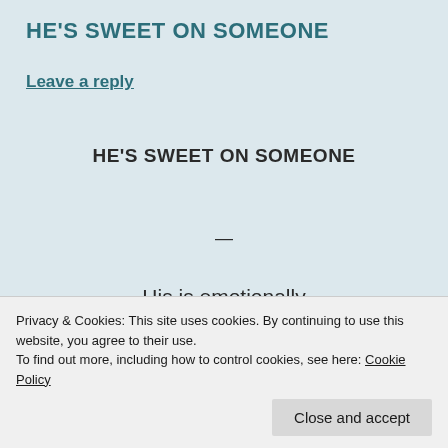HE'S SWEET ON SOMEONE
Leave a reply
HE'S SWEET ON SOMEONE
—
His is emotionally
Attached to someone he sees...
Privacy & Cookies: This site uses cookies. By continuing to use this website, you agree to their use.
To find out more, including how to control cookies, see here: Cookie Policy
Close and accept